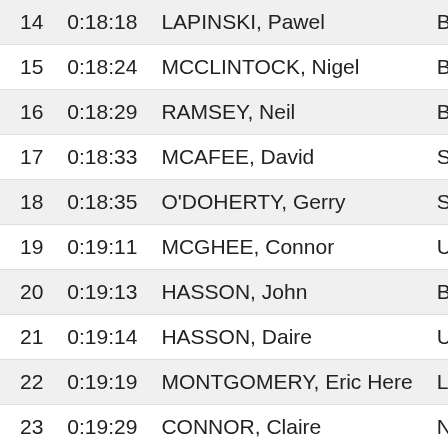| Pos | Time | Name | Club |
| --- | --- | --- | --- |
| 14 | 0:18:18 | LAPINSKI, Pawel | Ballymena |
| 15 | 0:18:24 | MCCLINTOCK, Nigel | Ballymena |
| 16 | 0:18:29 | RAMSEY, Neil | Ballymena |
| 17 | 0:18:33 | MCAFEE, David | Springwell |
| 18 | 0:18:35 | O'DOHERTY, Gerry | Springwell |
| 19 | 0:19:11 | MCGHEE, Connor | Unattached |
| 20 | 0:19:13 | HASSON, John | Ballymena |
| 21 | 0:19:14 | HASSON, Daire | Unattached |
| 22 | 0:19:19 | MONTGOMERY, Eric Here | Lagan Vall |
| 23 | 0:19:29 | CONNOR, Claire | North Belf |
| 24 | 0:19:31 | GEDDIS, Brian | Springwell |
| 25 | 0:19:33 | BRENNAN, Colin | Springwell |
| 26 | 0:19:49 | QUIGLEY, Geraldine | Larne AC |
| 27 | 0:19:51 | MCALEESE, Eunan | Unattached |
| 28 | 0:19:52 | SIBBETT, Lorna | Ballymena |